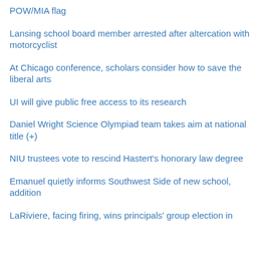POW/MIA flag
Lansing school board member arrested after altercation with motorcyclist
At Chicago conference, scholars consider how to save the liberal arts
UI will give public free access to its research
Daniel Wright Science Olympiad team takes aim at national title (+)
NIU trustees vote to rescind Hastert's honorary law degree
Emanuel quietly informs Southwest Side of new school, addition
LaRiviere, facing firing, wins principals' group election in